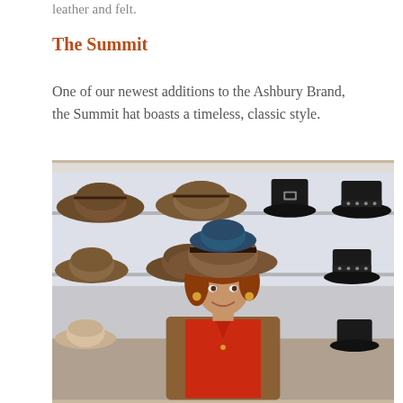leather and felt.
The Summit
One of our newest additions to the Ashbury Brand, the Summit hat boasts a timeless, classic style.
[Figure (photo): A woman wearing a brown wide-brim hat and red blouse standing in front of a wall display of various hats including fedoras and top hats on racks.]